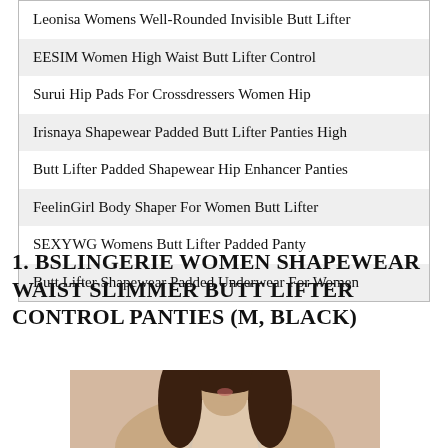| Leonisa Womens Well-Rounded Invisible Butt Lifter |
| EESIM Women High Waist Butt Lifter Control |
| Surui Hip Pads For Crossdressers Women Hip |
| Irisnaya Shapewear Padded Butt Lifter Panties High |
| Butt Lifter Padded Shapewear Hip Enhancer Panties |
| FeelinGirl Body Shaper For Women Butt Lifter |
| SEXYWG Womens Butt Lifter Padded Panty |
| Butt Lifter Shapewear Padded Underwear For Women |
1. BSLINGERIE WOMEN SHAPEWEAR WAIST SLIMMER BUTT LIFTER CONTROL PANTIES (M, BLACK)
[Figure (photo): Woman wearing beige/nude bra shapewear, dark hair, visible from shoulders up]